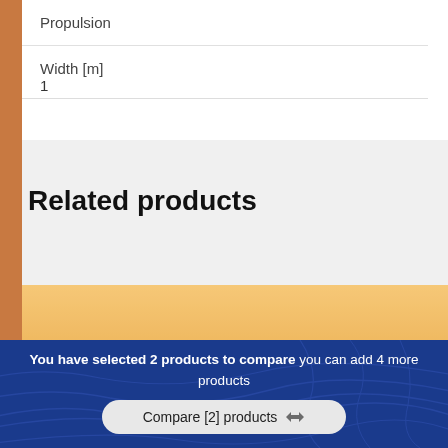| Propulsion |
| Width [m] | 1 |
Related products
[Figure (photo): Outdoor scene at golden hour showing military or defense equipment silhouetted against warm sandy hills and orange sky]
You have selected 2 products to compare you can add 4 more products
Compare [2] products